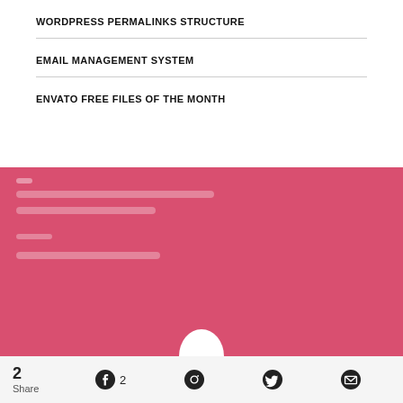WORDPRESS PERMALINKS STRUCTURE
EMAIL MANAGEMENT SYSTEM
ENVATO FREE FILES OF THE MONTH
[Figure (screenshot): Pink/red block with white text lines (blurred/unreadable) and a white bubble cutout at the bottom center, representing a widget or card UI element]
2 Share | Facebook 2 | Pinterest | Twitter | Email